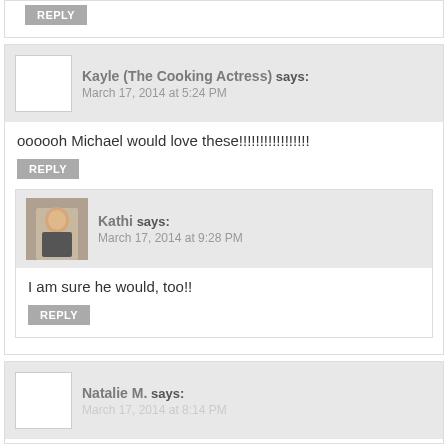REPLY
Kayle (The Cooking Actress) says: March 17, 2014 at 5:24 PM
oooooh Michael would love these!!!!!!!!!!!!!!!!!
REPLY
Kathi says: March 17, 2014 at 9:28 PM
I am sure he would, too!!
REPLY
Natalie M. says: March 17, 2014 at 8:14 PM